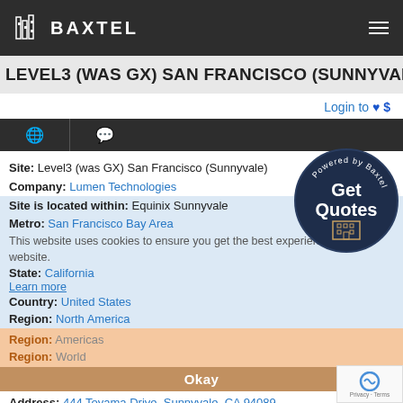BAXTEL
LEVEL3 (WAS GX) SAN FRANCISCO (SUNNYVALE)
Login to ♥ $
Site: Level3 (was GX) San Francisco (Sunnyvale)
Company: Lumen Technologies
Site is located within: Equinix Sunnyvale
Metro: San Francisco Bay Area
State: California
Country: United States
Region: North America
This website uses cookies to ensure you get the best experience on our website. Learn more
Region: Americas
Region: World
Okay
Address: 444 Toyama Drive, Sunnyvale, CA 94089
Gross SqFt: 1,300
[Figure (infographic): Powered by Baxtel Get Quotes circular badge with dark navy background]